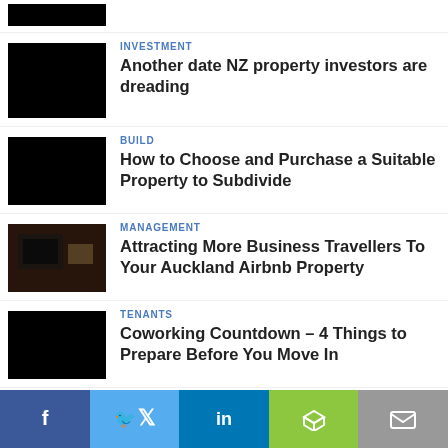[Figure (photo): Partial black thumbnail at top of page]
[Figure (photo): Black thumbnail image for investment article]
INVESTMENT
Another date NZ property investors are dreading
[Figure (photo): Black thumbnail image for build article]
BUILD
How to Choose and Purchase a Suitable Property to Subdivide
[Figure (photo): Photo of room interior for management article]
MANAGEMENT
Attracting More Business Travellers To Your Auckland Airbnb Property
[Figure (photo): Black thumbnail image for tenants article]
TENANTS
Coworking Countdown – 4 Things to Prepare Before You Move In
[Figure (photo): Black thumbnail image for renovations article]
RENOVATIONS
Five easy steps to boost the appeal of your home